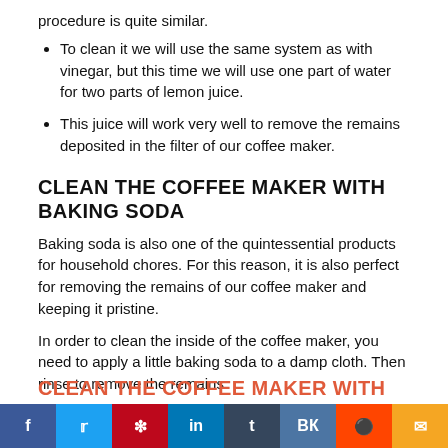procedure is quite similar.
To clean it we will use the same system as with vinegar, but this time we will use one part of water for two parts of lemon juice.
This juice will work very well to remove the remains deposited in the filter of our coffee maker.
CLEAN THE COFFEE MAKER WITH BAKING SODA
Baking soda is also one of the quintessential products for household chores. For this reason, it is also perfect for removing the remains of our coffee maker and keeping it pristine.
In order to clean the inside of the coffee maker, you need to apply a little baking soda to a damp cloth. Then rinse to remove the remains.
CLEAN THE COFFEE MAKER WITH CLEANING AND